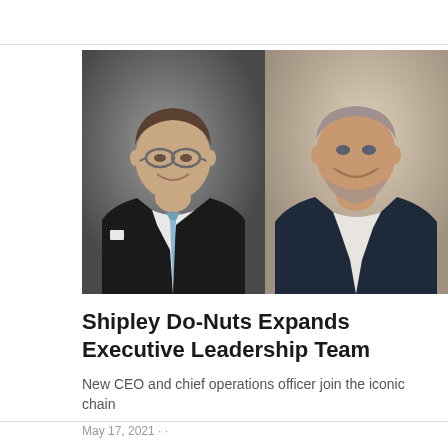[Figure (photo): Two men side by side: left man in dark suit with light blue tie and glasses (professional headshot on grey background), right man in dark blazer over white shirt (casual smiling photo on beige background)]
Shipley Do-Nuts Expands Executive Leadership Team
New CEO and chief operations officer join the iconic chain
May 17, 2021 · ·